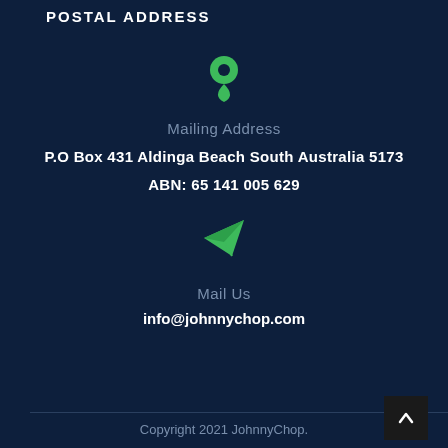POSTAL ADDRESS
[Figure (illustration): Green map pin / location icon]
Mailing Address
P.O Box 431 Aldinga Beach South Australia 5173
ABN: 65 141 005 629
[Figure (illustration): Green paper plane / send icon]
Mail Us
info@johnnychop.com
Copyright 2021 JohnnyChop.